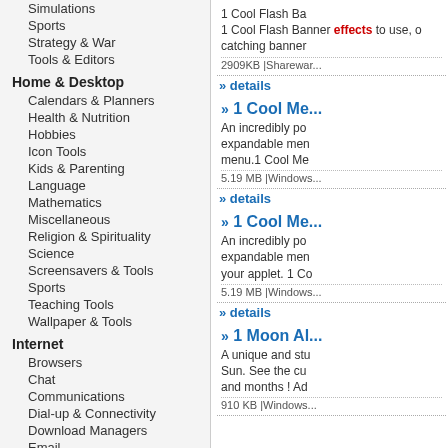Simulations
Sports
Strategy & War
Tools & Editors
Home & Desktop
Calendars & Planners
Health & Nutrition
Hobbies
Icon Tools
Kids & Parenting
Language
Mathematics
Miscellaneous
Religion & Spirituality
Science
Screensavers & Tools
Sports
Teaching Tools
Wallpaper & Tools
Internet
Browsers
Chat
Communications
Dial-up & Connectivity
Download Managers
Email
File Sharing
1 Cool Flash Ba... 1 Cool Flash Banner effects to use, o... catching banner... 2909KB |Sharewar...
» details
» 1 Cool Me... An incredibly po... expandable men... menu.1 Cool Me... 5.19 MB |Windows...
» details
» 1 Cool Me... An incredibly po... expandable men... your applet. 1 Co... 5.19 MB |Windows...
» details
» 1 Moon Al... A unique and stu... Sun. See the cu... and months ! Ad... 910 KB |Windows...